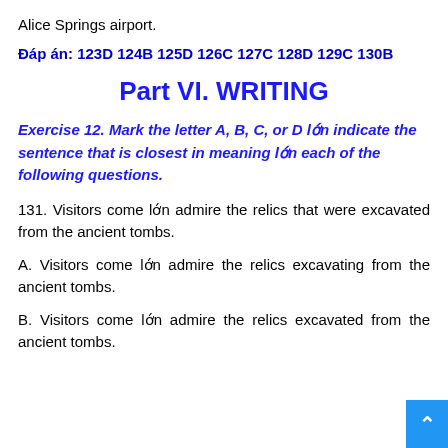Alice Springs airport.
Đáp án: 123D 124B 125D 126C 127C 128D 129C 130B
Part VI. WRITING
Exercise 12. Mark the letter A, B, C, or D lớn indicate the sentence that is closest in meaning lớn each of the following questions.
131. Visitors come lớn admire the relics that were excavated from the ancient tombs.
A. Visitors come lớn admire the relics excavating from the ancient tombs.
B. Visitors come lớn admire the relics excavated from the ancient tombs.